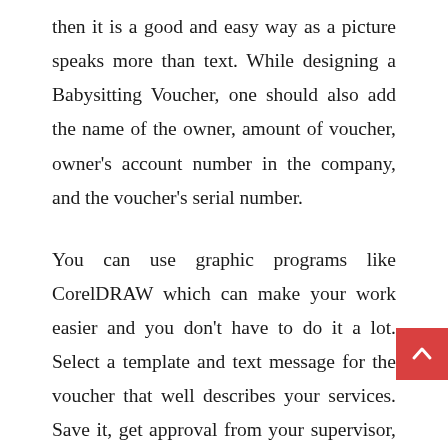then it is a good and easy way as a picture speaks more than text. While designing a Babysitting Voucher, one should also add the name of the owner, amount of voucher, owner's account number in the company, and the voucher's serial number.
You can use graphic programs like CorelDRAW which can make your work easier and you don't have to do it a lot. Select a template and text message for the voucher that well describes your services. Save it, get approval from your supervisor, and then print it.